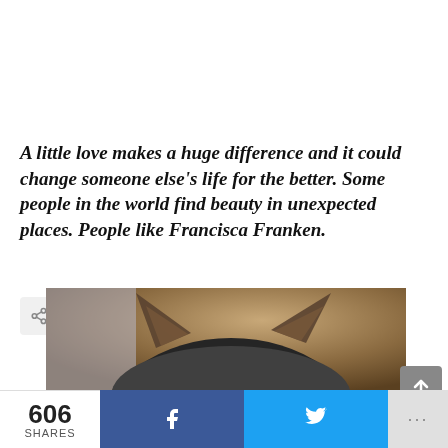A little love makes a huge difference and it could change someone else's life for the better. Some people in the world find beauty in unexpected places. People like Francisca Franken.
[Figure (photo): Close-up photo of the top of a cat's head showing its ears, dark grey fur with warm background]
606 SHARES | Facebook share | Twitter share | More